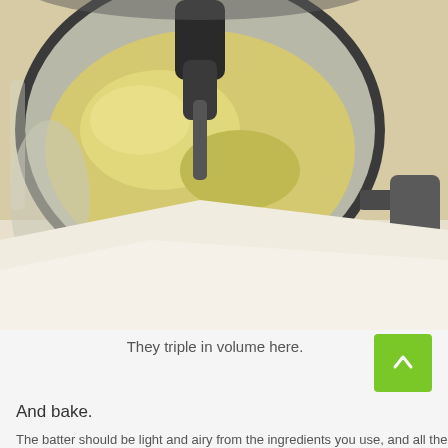[Figure (photo): Close-up top-down view of a stand mixer bowl with pale yellow batter being mixed by a dough hook attachment. The stainless steel bowl reflects light and the mixer attachment is visible at the top center. The bowl's handle/locking mechanism is visible on the right side.]
They triple in volume here.
And bake.
The batter should be light and airy from the ingredients you use, and all the